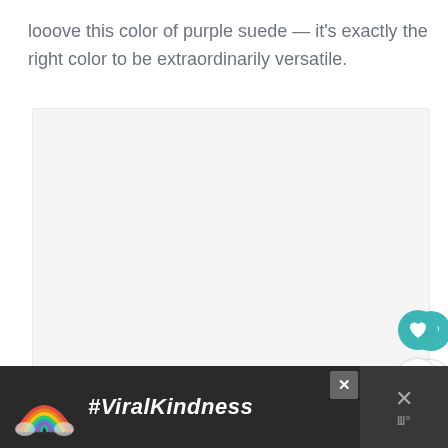looove this color of purple suede — it's exactly the right color to be extraordinarily versatile.
[Figure (photo): Image placeholder/carousel with three navigation dots at bottom, light grey background]
[Figure (screenshot): Advertisement banner: rainbow illustration on dark background with text #ViralKindness, close button, and right panel with X and W icons]